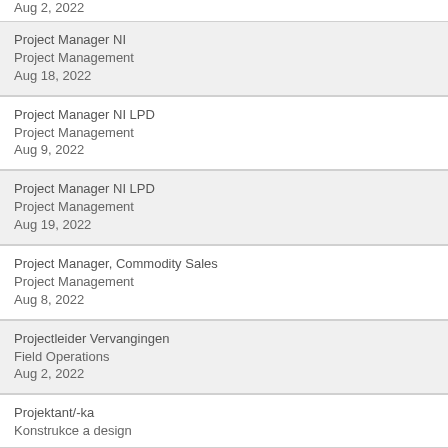Aug 2, 2022
Project Manager NI
Project Management
Aug 18, 2022
Project Manager NI LPD
Project Management
Aug 9, 2022
Project Manager NI LPD
Project Management
Aug 19, 2022
Project Manager, Commodity Sales
Project Management
Aug 8, 2022
Projectleider Vervangingen
Field Operations
Aug 2, 2022
Projektant/-ka
Konstrukce a design